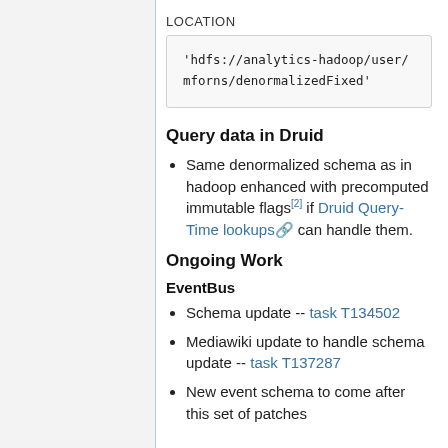LOCATION
'hdfs://analytics-hadoop/user/mforns/denormalizedFixed'
Query data in Druid
Same denormalized schema as in hadoop enhanced with precomputed immutable flags[2] if Druid Query-Time lookups can handle them.
Ongoing Work
EventBus
Schema update -- task T134502
Mediawiki update to handle schema update -- task T137287
New event schema to come after this set of patches